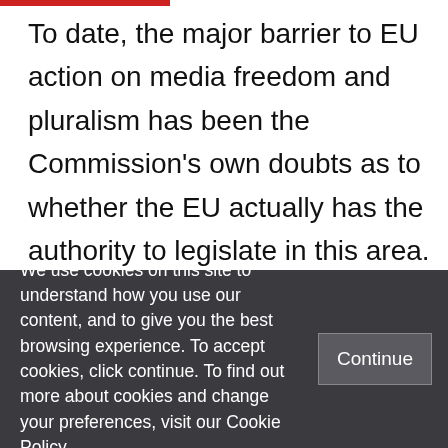To date, the major barrier to EU action on media freedom and pluralism has been the Commission's own doubts as to whether the EU actually has the authority to legislate in this area. The lack of political appetite among national governments, with the power to block new EU legislation, hasn't helped either. If Commissioner Kroes was searching for confirmation that the EU can
We use cookies on this site to understand how you use our content, and to give you the best browsing experience. To accept cookies, click continue. To find out more about cookies and change your preferences, visit our Cookie Policy.